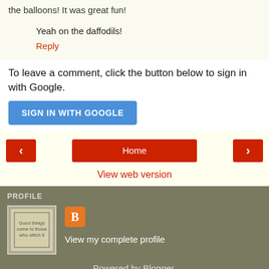the balloons! It was great fun!
Yeah on the daffodils!
Reply
To leave a comment, click the button below to sign in with Google.
SIGN IN WITH GOOGLE
[Figure (other): Navigation bar with left arrow, Home button, and right arrow]
View web version
PROFILE
[Figure (photo): Profile photo thumbnail showing a stitched sign that reads 'Good things come to those who stitch it']
[Figure (logo): Blogger orange B icon]
View my complete profile
Powered by Blogger.